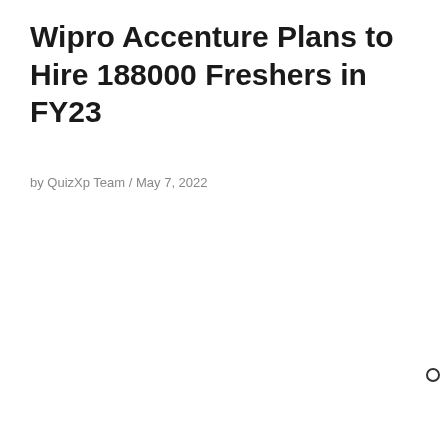Wipro Accenture Plans to Hire 188000 Freshers in FY23
by QuizXp Team / May 7, 2022